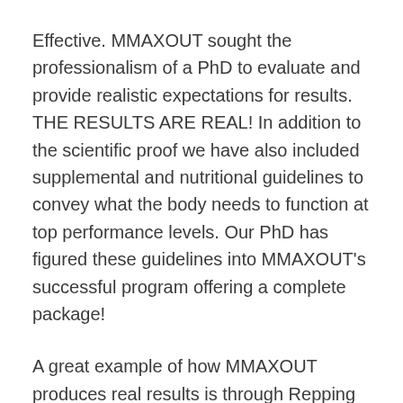Effective.  MMAXOUT sought the professionalism of a PhD to evaluate and provide realistic expectations for results.  THE RESULTS ARE REAL!  In addition to the scientific proof we have also included supplemental and nutritional guidelines to convey what the body needs to function at top performance levels.  Our PhD has figured these guidelines into MMAXOUT's successful program offering a complete package!
A great example of how MMAXOUT produces real results is through Repping Out, which you'll learn more in about in our next feature article.  This discipline shreds the body of fat by focusing on one or all muscle groups.  Just don't stop...the more reps you can do during REP OUT the better!  Pushing you faster and harder during each set increasing reps and decreasing